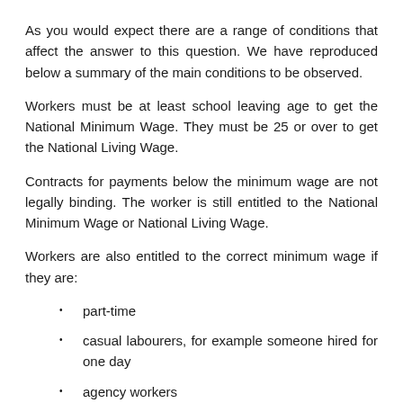As you would expect there are a range of conditions that affect the answer to this question. We have reproduced below a summary of the main conditions to be observed.
Workers must be at least school leaving age to get the National Minimum Wage. They must be 25 or over to get the National Living Wage.
Contracts for payments below the minimum wage are not legally binding. The worker is still entitled to the National Minimum Wage or National Living Wage.
Workers are also entitled to the correct minimum wage if they are:
part-time
casual labourers, for example someone hired for one day
agency workers